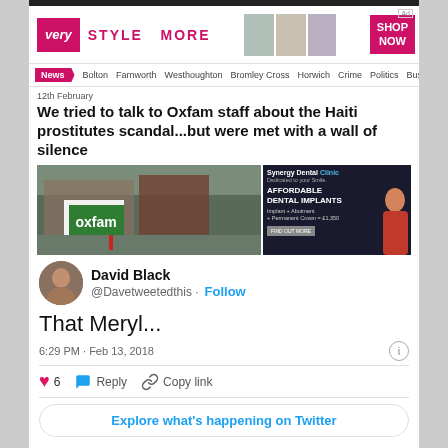[Figure (screenshot): Advertisement banner for 'very' - STYLE MORE - SHOP NOW]
News  Bolton  Farnworth  Westhoughton  Bromley Cross  Horwich  Crime  Politics  Business
12th February
We tried to talk to Oxfam staff about the Haiti prostitutes scandal...but were met with a wall of silence
[Figure (photo): Street photo of Oxfam shop and dental clinic advertisement]
David Black
@Davetweetedthis · Follow
That Meryl...
6:29 PM · Feb 13, 2018
6  Reply  Copy link
Explore what's happening on Twitter